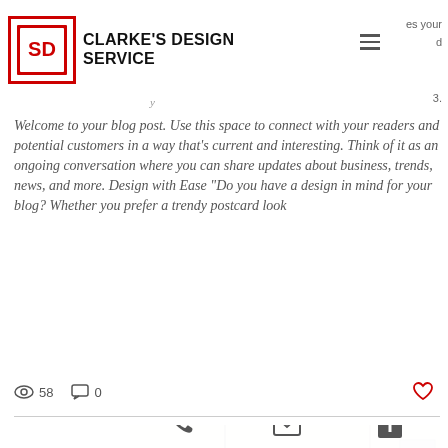CLARKE'S DESIGN SERVICE
es your
d
3.
Welcome to your blog post. Use this space to connect with your readers and potential customers in a way that’s current and interesting. Think of it as an ongoing conversation where you can share updates about business, trends, news, and more. Design with Ease “Do you have a design in mind for your blog? Whether you prefer a trendy postcard look
58   0
[Figure (photo): Interior design photo showing a white modern kitchen or room space with pendant light]